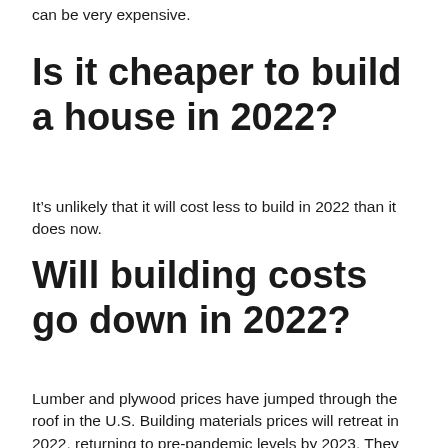can be very expensive.
Is it cheaper to build a house in 2022?
It's unlikely that it will cost less to build in 2022 than it does now.
Will building costs go down in 2022?
Lumber and plywood prices have jumped through the roof in the U.S. Building materials prices will retreat in 2022, returning to pre-pandemic levels by 2023. They reflect housing-specific issues, not general inflation (though broader housing...